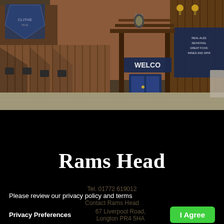[Figure (photo): Exterior photo of Rams Head pub showing wooden fence/gate area with 'Welcome' sign above a blue door, brick building in background, outdoor seating area with flagstone paving.]
Rams Head
Tel. 01772 619012
Please review our privacy policy and terms
Contact Rams Head
Privacy Preferences
67 Liverpool Road, Longton PR4 5HA
I Agree